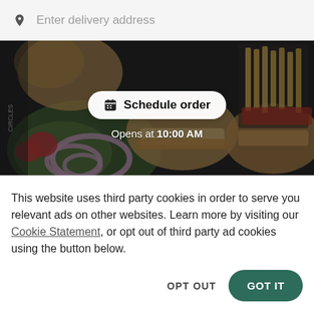Enter delivery address
[Figure (photo): Hero image of assorted sandwiches, salads, and french fries on a dark background, with a 'Schedule order' button overlay and 'Opens at 10:00 AM' text]
Circles Market
This website uses third party cookies in order to serve you relevant ads on other websites. Learn more by visiting our Cookie Statement, or opt out of third party ad cookies using the button below.